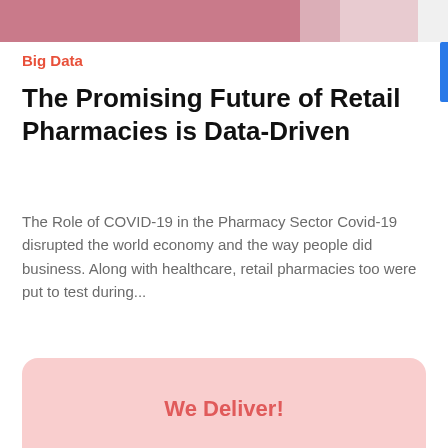[Figure (photo): Partial view of a person in medical/pharmacy context, cropped at the top of the page with pink/mauve tones]
Big Data
The Promising Future of Retail Pharmacies is Data-Driven
The Role of COVID-19 in the Pharmacy Sector Covid-19 disrupted the world economy and the way people did business. Along with healthcare, retail pharmacies too were put to test during...
We Deliver!
Sign up for email updates
Name*